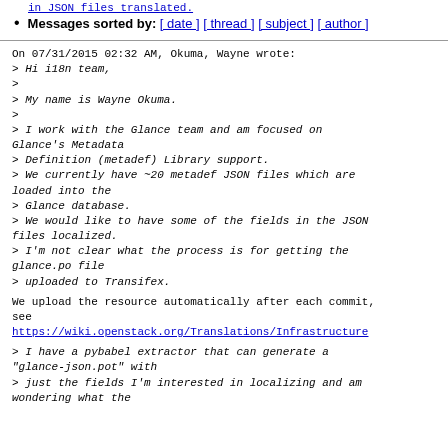in JSON files translated.
Messages sorted by: [ date ] [ thread ] [ subject ] [ author ]
On 07/31/2015 02:32 AM, Okuma, Wayne wrote:
> Hi i18n team,
>
> My name is Wayne Okuma.
>
> I work with the Glance team and am focused on Glance's Metadata
> Definition (metadef) Library support.
> We currently have ~20 metadef JSON files which are loaded into the
> Glance database.
> We would like to have some of the fields in the JSON files localized.
> I'm not clear what the process is for getting the glance.po file
> uploaded to Transifex.

We upload the resource automatically after each commit, see
https://wiki.openstack.org/Translations/Infrastructure

> I have a pybabel extractor that can generate a "glance-json.pot" with
> just the fields I'm interested in localizing and am wondering what the